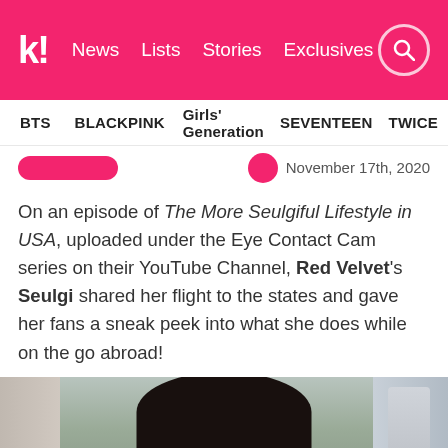k! News Lists Stories Exclusives
BTS BLACKPINK Girls' Generation SEVENTEEN TWICE
November 17th, 2020
On an episode of The More Seulgiful Lifestyle in USA, uploaded under the Eye Contact Cam series on their YouTube Channel, Red Velvet's Seulgi shared her flight to the states and gave her fans a sneak peek into what she does while on the go abroad!
[Figure (photo): Video thumbnail showing Red Velvet's Seulgi lying back on an airplane seat wearing a green top, with a play button overlay in the center]